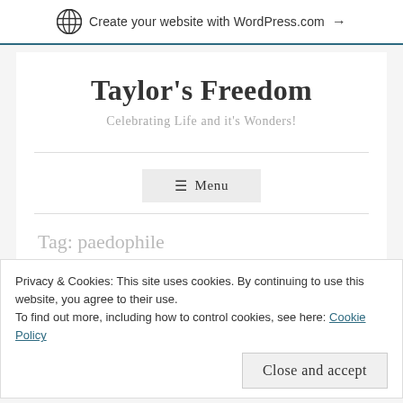Create your website with WordPress.com →
Taylor's Freedom
Celebrating Life and it's Wonders!
≡ Menu
Tag: paedophile
Privacy & Cookies: This site uses cookies. By continuing to use this website, you agree to their use.
To find out more, including how to control cookies, see here: Cookie Policy
Close and accept